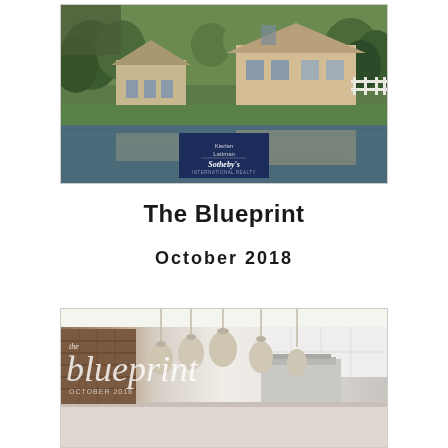[Figure (photo): Aerial/ground level photo of a large residential estate with brown shingle houses reflected in a pond, surrounded by green trees and lawn, with a Kierlen Lattman Sotheby's International Realty sign overlay]
The Blueprint
October 2018
[Figure (photo): Interior kitchen photo with white cabinetry, hanging pendant lights, and a range hood, with 'the blueprint OCTOBER 2018' text overlay in white italic font]